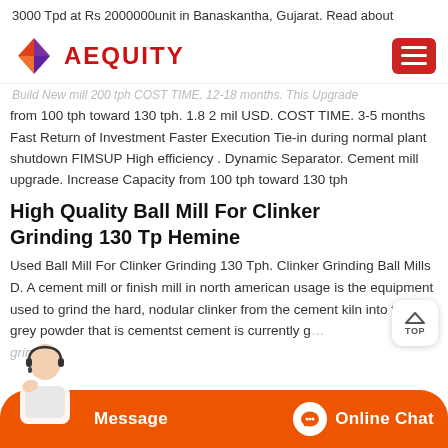3000 Tpd at Rs 2000000unit in Banaskantha, Gujarat. Read about
AEQUITY (navbar with logo and hamburger menu)
Build New mill 200 tph COST TIME. 12-18 months. This Upgrade from 100 tph toward 130 tph. 1.8 2 mil USD. COST TIME. 3-5 months Fast Return of Investment Faster Execution Tie-in during normal plant shutdown FIMSUP High efficiency . Dynamic Separator. Cement mill upgrade. Increase Capacity from 100 tph toward 130 tph
High Quality Ball Mill For Clinker Grinding 130 Tp Hemine
Used Ball Mill For Clinker Grinding 130 Tph. Clinker Grinding Ball Mills D. A cement mill or finish mill in north american usage is the equipment used to grind the hard, nodular clinker from the cement kiln into the fine grey powder that is cementst cement is currently ground in
Message | Online Chat